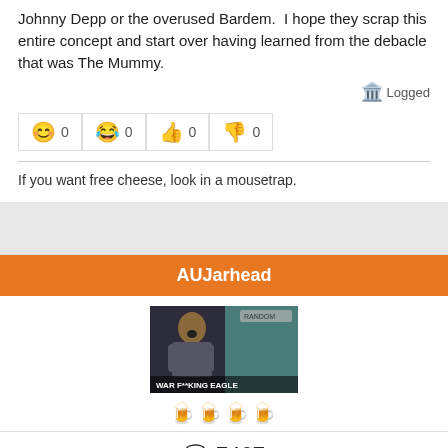Johnny Depp or the overused Bardem.  I hope they scrap this entire concept and start over having learned from the debacle that was The Mummy.
🏛️ Logged
😊 0  😂 0  👍 0  👎 0
If you want free cheese, look in a mousetrap.
AUJarhead
[Figure (photo): A meme/GIF image of a man in a suit with text 'WAR FUCKING EAGLE' overlaid]
🍺🍺🍺🍺
💬 7467